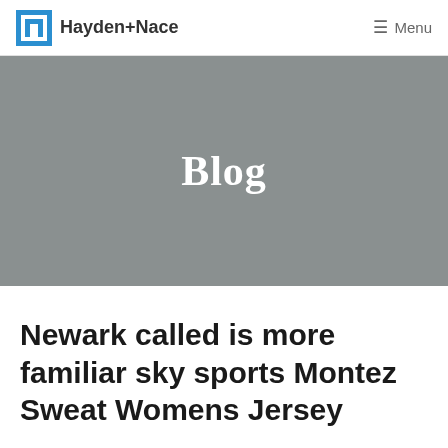Hayden+Nace   Menu
[Figure (other): Gray hero banner with bold white text reading 'Blog']
Newark called is more familiar sky sports Montez Sweat Womens Jersey